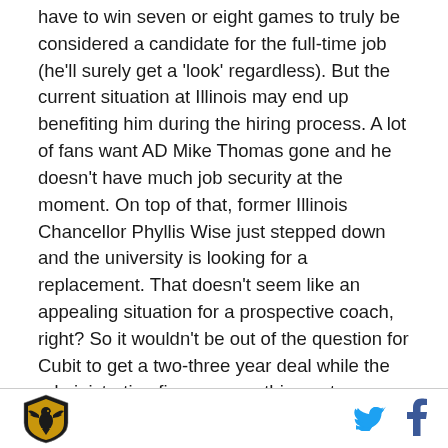have to win seven or eight games to truly be considered a candidate for the full-time job (he'll surely get a 'look' regardless). But the current situation at Illinois may end up benefiting him during the hiring process. A lot of fans want AD Mike Thomas gone and he doesn't have much job security at the moment. On top of that, former Illinois Chancellor Phyllis Wise just stepped down and the university is looking for a replacement. That doesn't seem like an appealing situation for a prospective coach, right? So it wouldn't be out of the question for Cubit to get a two-three year deal while the administration figures everything out.

We've been following potential candidates' teams
[Figure (logo): Sports team logo — shield/crest shape with eagle/bird emblem in gold and black]
[Figure (logo): Twitter bird icon in blue]
[Figure (logo): Facebook 'f' icon in blue]